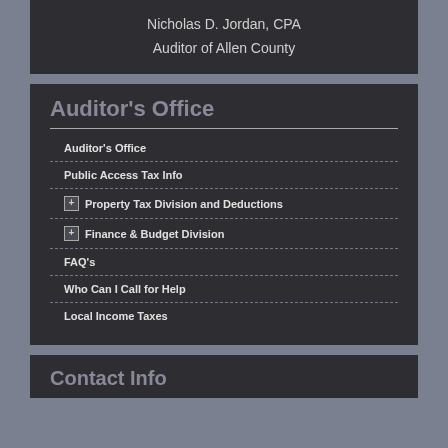Nicholas D. Jordan, CPA
Auditor of Allen County
Auditor's Office
Auditor's Office
Public Access Tax Info
Property Tax Division and Deductions
Finance & Budget Division
FAQ's
Who Can I Call for Help
Local Income Taxes
Contact Info